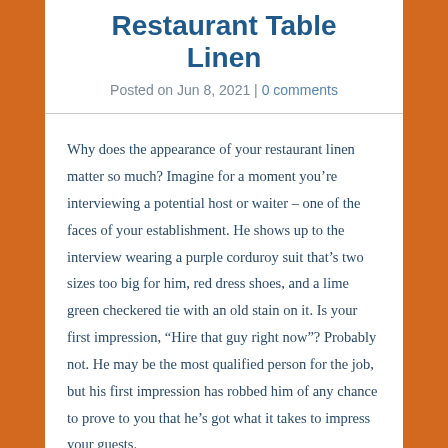Restaurant Table Linen
Posted on Jun 8, 2021 | 0 comments
Why does the appearance of your restaurant linen matter so much? Imagine for a moment you’re interviewing a potential host or waiter – one of the faces of your establishment. He shows up to the interview wearing a purple corduroy suit that’s two sizes too big for him, red dress shoes, and a lime green checkered tie with an old stain on it. Is your first impression, “Hire that guy right now”? Probably not. He may be the most qualified person for the job, but his first impression has robbed him of any chance to prove to you that he’s got what it takes to impress your guests.